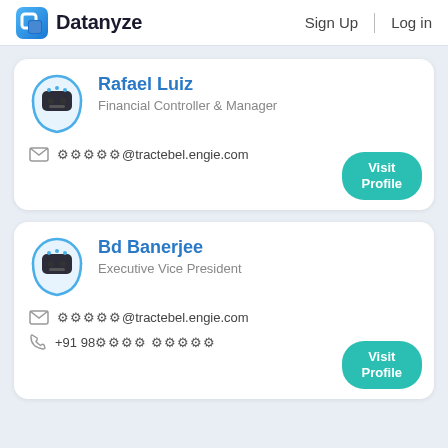Datanyze  Sign Up  Log in
Rafael Luiz
Financial Controller & Manager
⚙⚙⚙⚙⚙@tractebel.engie.com
Visit Profile
Bd Banerjee
Executive Vice President
⚙⚙⚙⚙⚙@tractebel.engie.com
+91 98⚙⚙⚙⚙ ⚙⚙⚙⚙⚙
Visit Profile